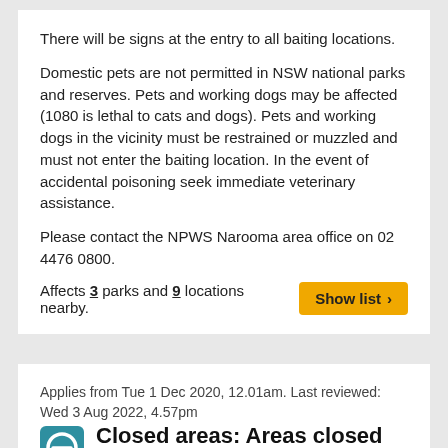There will be signs at the entry to all baiting locations.
Domestic pets are not permitted in NSW national parks and reserves. Pets and working dogs may be affected (1080 is lethal to cats and dogs). Pets and working dogs in the vicinity must be restrained or muzzled and must not enter the baiting location. In the event of accidental poisoning seek immediate veterinary assistance.
Please contact the NPWS Narooma area office on 02 4476 0800.
Affects 3 parks and 9 locations nearby.
Applies from Tue 1 Dec 2020, 12.01am. Last reviewed: Wed 3 Aug 2022, 4.57pm
Closed areas: Areas closed due to bushfire damage and recovery works
Many areas in Monga National Park remain closed due to significant bushfire damage and recovery works. The closed areas include:
Mongarlowe River picnic area
Woodleigh fire trail